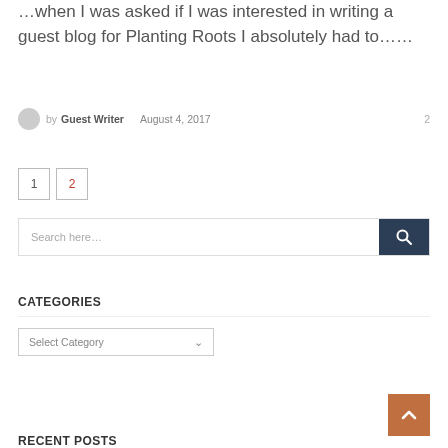...when I was asked if I was interested in writing a guest blog for Planting Roots I absolutely had to......
by Guest Writer   August 4, 2017   2
1
2
Search here...
CATEGORIES
Select Category
RECENT POSTS